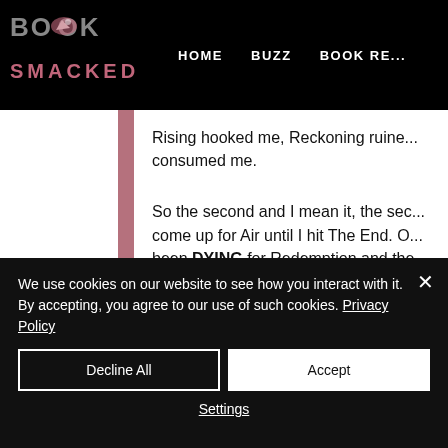BOOK SMACKED — HOME   BUZZ   BOOK RE...
Rising hooked me, Reckoning ruined me, consumed me.
So the second and I mean it, the second I come up for Air until I hit The End. O been DYING for Redemption and the...
We use cookies on our website to see how you interact with it. By accepting, you agree to our use of such cookies. Privacy Policy
Decline All
Accept
Settings